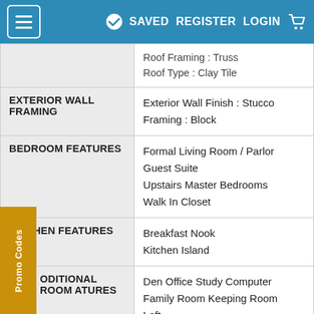≡  ✔ SAVED  REGISTER  LOGIN  🛒
| Category | Details |
| --- | --- |
|  | Roof Framing : Truss
Roof Type : Clay Tile |
| EXTERIOR WALL FRAMING | Exterior Wall Finish : Stucco
Framing : Block |
| BEDROOM FEATURES | Formal Living Room / Parlor
Guest Suite
Upstairs Master Bedrooms
Walk In Closet |
| KITCHEN FEATURES | Breakfast Nook
Kitchen Island |
| ADDITIONAL ROOM FEATURES | Den Office Study Computer
Family Room Keeping Room
Loft
Media Room |
| OUTDOOR SPACES | Balcony
Courtyard |
Promo Codes